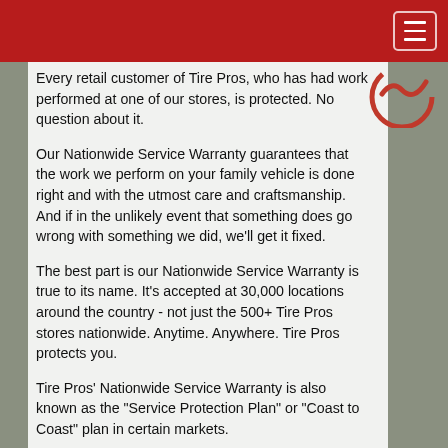Every retail customer of Tire Pros, who has had work performed at one of our stores, is protected. No question about it.
Our Nationwide Service Warranty guarantees that the work we perform on your family vehicle is done right and with the utmost care and craftsmanship. And if in the unlikely event that something does go wrong with something we did, we'll get it fixed.
The best part is our Nationwide Service Warranty is true to its name. It's accepted at 30,000 locations around the country - not just the 500+ Tire Pros stores nationwide. Anytime. Anywhere. Tire Pros protects you.
Tire Pros' Nationwide Service Warranty is also known as the "Service Protection Plan" or "Coast to Coast" plan in certain markets.